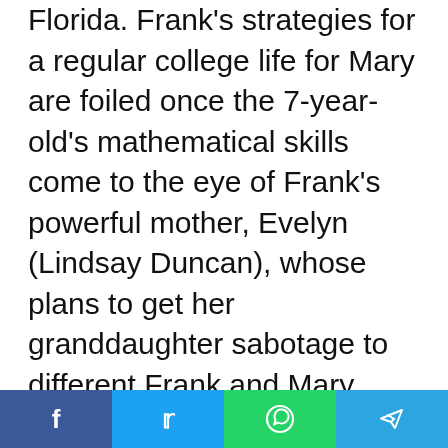Florida. Frank's strategies for a regular college life for Mary are foiled once the 7-year-old's mathematical skills come to the eye of Frank's powerful mother, Evelyn (Lindsay Duncan), whose plans to get her granddaughter sabotage to different Frank and Mary. 'Gifted' was originally released in April of 2017. Chris Evans is the guy playing the part of Frank who increases his dead sister's kid in 'Gifted'. The creation of 'Lobby Hero' in Broadway's recently remodeled Hayes Theatre is a remarkable crossover event. Chris Evans created a very terrific Broadway debut with 'Lobby Hero'. Together with 'Lobby Hero', the longtime Off Broadway Second Stage
f  t  (whatsapp icon)  (telegram icon)